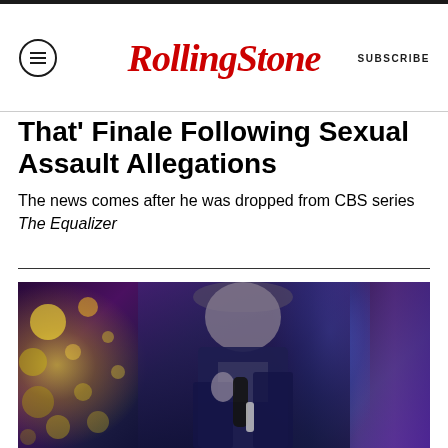Rolling Stone | SUBSCRIBE
That’ Finale Following Sexual Assault Allegations
The news comes after he was dropped from CBS series The Equalizer
[Figure (photo): A man holding a microphone and a bottle, performing on stage with colorful bokeh lights and purple/blue stage lighting behind him.]